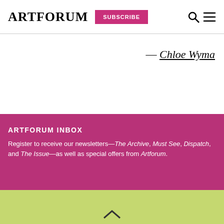ARTFORUM  SUBSCRIBE
— Chloe Wyma
ARTFORUM INBOX
Register to receive our newsletters—The Archive, Must See, Dispatch, and The Issue—as well as special offers from Artforum.
You have 2 articles remaining this month. Subscribe for immediate access to this and over five decades of articles from our archives.